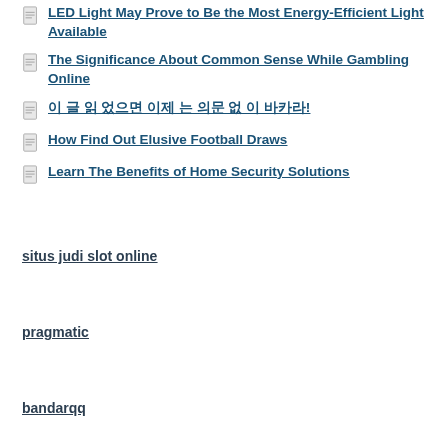LED Light May Prove to Be the Most Energy-Efficient Light Available
The Significance About Common Sense While Gambling Online
이 글 읽 었으면 이제 는 의문 없 이 바카라!
How Find Out Elusive Football Draws
Learn The Benefits of Home Security Solutions
situs judi slot online
pragmatic
bandarqq